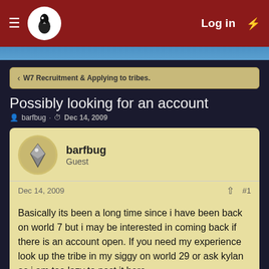Log in
W7 Recruitment & Applying to tribes.
Possibly looking for an account
barfbug · Dec 14, 2009
barfbug
Guest
Dec 14, 2009  #1
Basically its been a long time since i have been back on world 7 but i may be interested in coming back if there is an account open. If you need my experience look up the tribe in my siggy on world 29 or ask kylan as i am too lazy to post it here
mordecairule
Guest